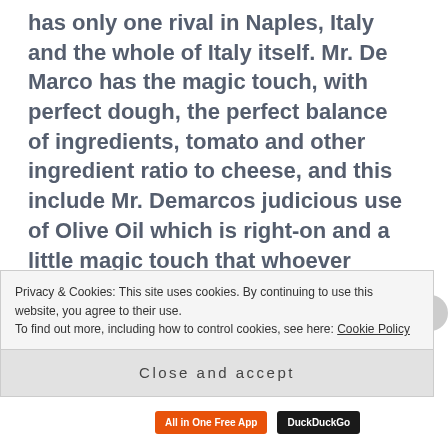has only one rival in Naples, Italy and the whole of Italy itself. Mr. De Marco has the magic touch, with perfect dough, the perfect balance of ingredients, tomato and other ingredient ratio to cheese, and this include Mr. Demarcos judicious use of Olive Oil which is right-on and a little magic touch that whoever complains about it, just does not know there Pizza and Italian Food on a whole. We Italians love our olive oil. And those who complain are unaware that it is a condiment that adds the final last touch to many dishes before they are eaten
Privacy & Cookies: This site uses cookies. By continuing to use this website, you agree to their use. To find out more, including how to control cookies, see here: Cookie Policy
Close and accept